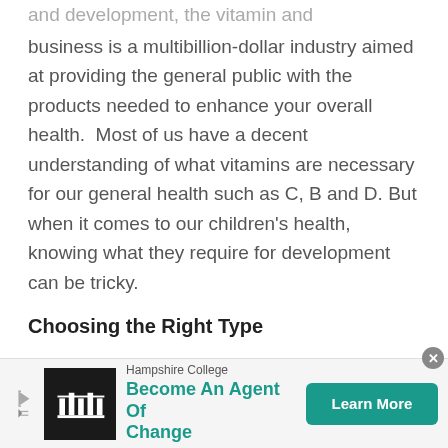and development, the vitamin and supplements business is a multibillion-dollar industry aimed at providing the general public with the products needed to enhance your overall health.  Most of us have a decent understanding of what vitamins are necessary for our general health such as C, B and D. But when it comes to our children's health, knowing what they require for development can be tricky.
Choosing the Right Type
First and foremost, doing your due diligence and spending a few moments to research what you are feeding your kids is essential.  It is surprising to see
[Figure (screenshot): Advertisement banner for Hampshire College: 'Become An Agent Of Change' with a Learn More button and Hampshire College logo]